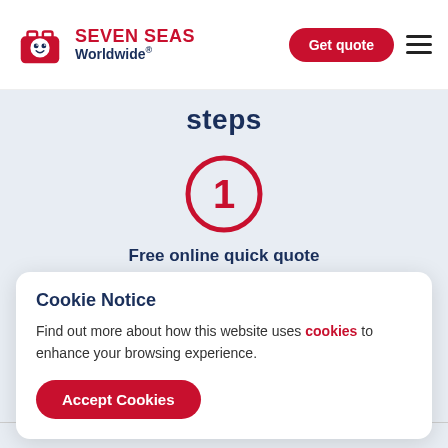[Figure (logo): Seven Seas Worldwide logo with red suitcase icon and text 'SEVEN SEAS Worldwide®']
[Figure (other): Red rounded 'Get quote' button in header]
[Figure (other): Hamburger menu icon (three horizontal lines)]
steps
[Figure (other): Red circle with number 1 inside, step indicator]
Free online quick quote
Our instant quote tool provides a clear, itemised cost
Cookie Notice
Find out more about how this website uses cookies to enhance your browsing experience.
[Figure (other): Red 'Accept Cookies' button]